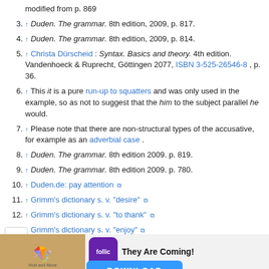modified from p. 869
3. ↑ Duden. The grammar. 8th edition, 2009, p. 817.
4. ↑ Duden. The grammar. 8th edition, 2009, p. 814.
5. ↑ Christa Dürscheid : Syntax. Basics and theory. 4th edition. Vandenhoeck & Ruprecht, Göttingen 2077, ISBN 3-525-26546-8 , p. 36.
6. ↑ This it is a pure run-up to squatters and was only used in the example, so as not to suggest that the him to the subject parallel he would.
7. ↑ Please note that there are non-structural types of the accusative, for example as an adverbial case .
8. ↑ Duden. The grammar. 8th edition 2009. p. 819.
9. ↑ Duden. The grammar. 8th edition 2009. p. 780.
10. ↑ Duden.de: pay attention
11. ↑ Grimm's dictionary s. v. "desire"
12. ↑ Grimm's dictionary s. v. "to thank"
13. ↑ Grimm's dictionary s. v. "enjoy"
[Figure (screenshot): Advertisement banner with follic app logo and 'They Are Coming!' text, with a DOWNLOAD button]